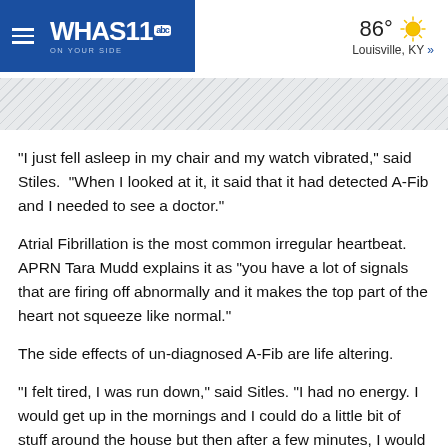WHAS11 abc ON YOUR SIDE — 86° Louisville, KY »
[Figure (infographic): Diagonal striped banner / advertisement placeholder]
"I just fell asleep in my chair and my watch vibrated," said Stiles.  "When I looked at it, it said that it had detected A-Fib and I needed to see a doctor."
Atrial Fibrillation is the most common irregular heartbeat.  APRN Tara Mudd explains it as "you have a lot of signals that are firing off abnormally and it makes the top part of the heart not squeeze like normal."
The side effects of un-diagnosed A-Fib are life altering.
"I felt tired, I was run down," said Sitles. "I had no energy. I would get up in the mornings and I could do a little bit of stuff around the house but then after a few minutes, I would